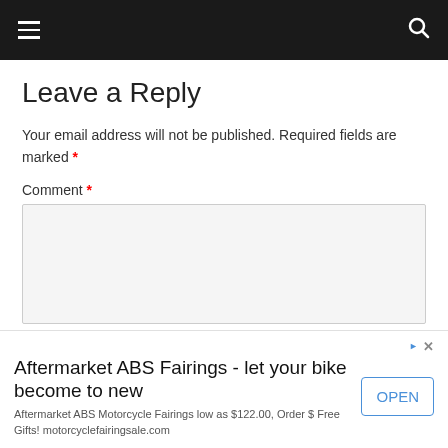Navigation bar with menu and search icons
Leave a Reply
Your email address will not be published. Required fields are marked *
Comment *
[Figure (screenshot): Comment text area form field (empty, gray background) with a dropdown chevron button below]
Aftermarket ABS Fairings - let your bike become to new
Aftermarket ABS Motorcycle Fairings low as $122.00, Order $ Free Gifts! motorcyclefairingsale.com